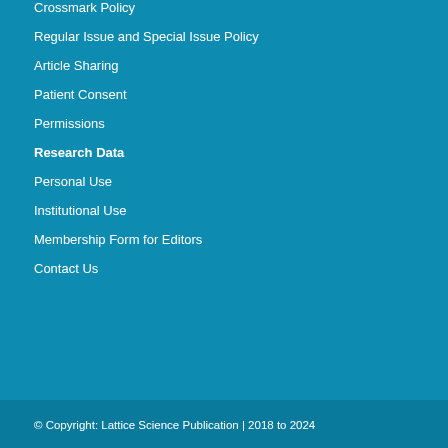Crossmark Policy
Regular Issue and Special Issue Policy
Article Sharing
Patient Consent
Permissions
Research Data
Personal Use
Institutional Use
Membership Form for Editors
Contact Us
© Copyright: Lattice Science Publication | 2018 to 2024